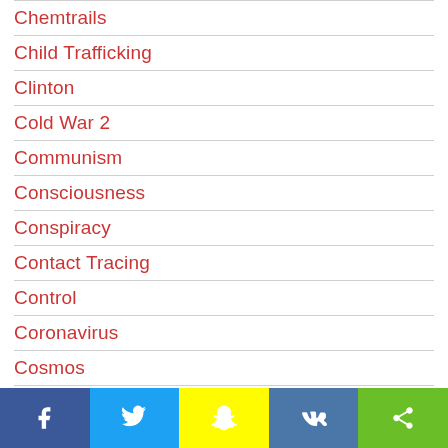Chemtrails
Child Trafficking
Clinton
Cold War 2
Communism
Consciousness
Conspiracy
Contact Tracing
Control
Coronavirus
Cosmos
Crisis Actors